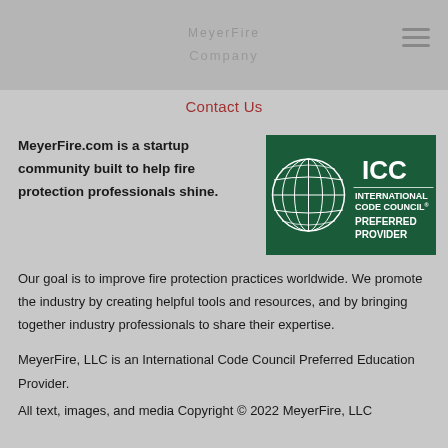Contact Us
Contact Us
MeyerFire.com is a startup community built to help fire protection professionals shine.
[Figure (logo): International Code Council Preferred Provider logo — green square with ICC globe graphic on left, text 'INTERNATIONAL CODE COUNCIL PREFERRED PROVIDER' on right in white on dark green background]
Our goal is to improve fire protection practices worldwide. We promote the industry by creating helpful tools and resources, and by bringing together industry professionals to share their expertise.
MeyerFire, LLC is an International Code Council Preferred Education Provider.
All text, images, and media Copyright © 2022 MeyerFire, LLC